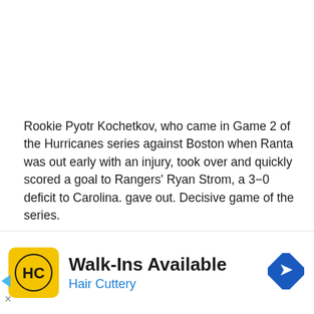Rookie Pyotr Kochetkov, who came in Game 2 of the Hurricanes series against Boston when Ranta was out early with an injury, took over and quickly scored a goal to Rangers' Ryan Strom, a 3−0 deficit to Carolina. gave out. Decisive game of the series.
Jarvis was knocked out of the game by Rangers defenseman Trouba on a jerky high hit with about 12 1/2 minutes
[Figure (other): Advertisement banner for Hair Cuttery salon. Features yellow square logo with HC initials, Walk-Ins Available headline, Hair Cuttery brand name in blue, and a blue navigation arrow diamond icon on the right.]